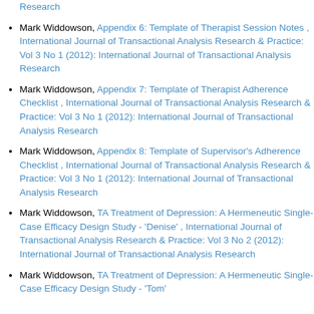Mark Widdowson, Appendix 6: Template of Therapist Session Notes , International Journal of Transactional Analysis Research & Practice: Vol 3 No 1 (2012): International Journal of Transactional Analysis Research
Mark Widdowson, Appendix 7: Template of Therapist Adherence Checklist , International Journal of Transactional Analysis Research & Practice: Vol 3 No 1 (2012): International Journal of Transactional Analysis Research
Mark Widdowson, Appendix 8: Template of Supervisor's Adherence Checklist , International Journal of Transactional Analysis Research & Practice: Vol 3 No 1 (2012): International Journal of Transactional Analysis Research
Mark Widdowson, TA Treatment of Depression: A Hermeneutic Single-Case Efficacy Design Study - 'Denise' , International Journal of Transactional Analysis Research & Practice: Vol 3 No 2 (2012): International Journal of Transactional Analysis Research
Mark Widdowson, TA Treatment of Depression: A Hermeneutic Single-Case Efficacy Design Study - 'Tom'